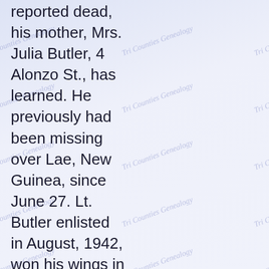reported dead, his mother, Mrs. Julia Butler, 4 Alonzo St., has learned. He previously had been missing over Lae, New Guinea, since June 27. Lt. Butler enlisted in August, 1942, won his wings in May, 1943, at Dothan,